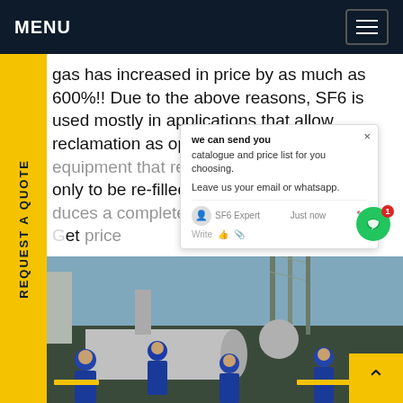MENU
gas has increased in price by as much as 600%!! Due to the above reasons, SF6 is used mostly in applications that allow reclamation as opposed to using it on equipment that requires release of the gas, only to be re-filled with virgin SF6. [Company] produces a complete line of SF6 recovery and Get [something]
[Figure (photo): Industrial workers in blue hard hats and uniforms working around large gray cylindrical gas tanks and industrial equipment at an outdoor substation or industrial facility.]
we can send you catalogue and price list for you choosing. Leave us your email or whatsapp.